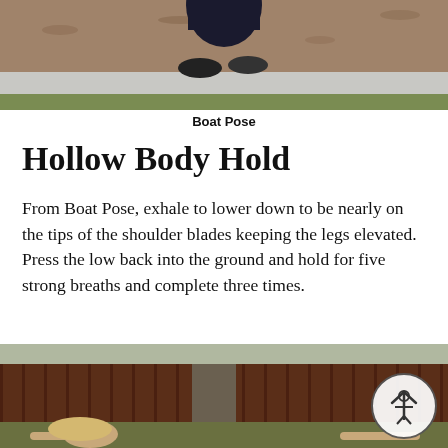[Figure (photo): Partial photo at the top of the page showing a person in Boat Pose yoga position outdoors, with a sidewalk and grass/mulch visible in the background.]
Boat Pose
Hollow Body Hold
From Boat Pose, exhale to lower down to be nearly on the tips of the shoulder blades keeping the legs elevated. Press the low back into the ground and hold for five strong breaths and complete three times.
[Figure (photo): Photo at the bottom of the page showing a person performing the Hollow Body Hold exercise outdoors, lying on the ground with a wooden fence and tree in the background. A circular scroll-to-top button with an upward arrow overlays the bottom-right corner.]